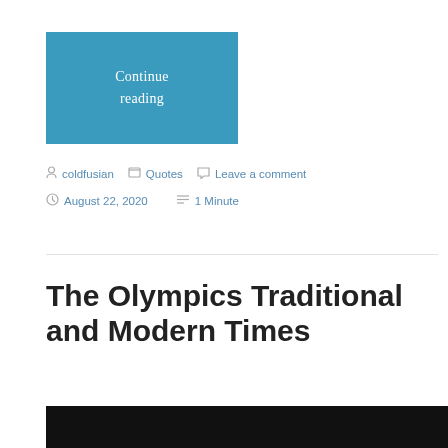Continue reading
coldfusian   Quotes   Leave a comment   August 22, 2020   1 Minute
The Olympics Traditional and Modern Times
[Figure (photo): Dark bottom strip, partial photo of Olympics-related scene]